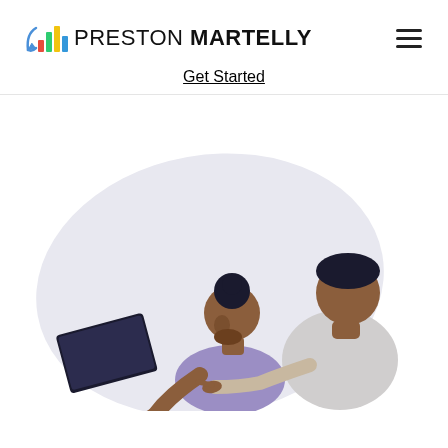[Figure (logo): Preston Martelly logo: bar chart icon with colored bars (blue, green, yellow, red) and curved arrow, followed by text 'PRESTON MARTELLY']
Get Started
[Figure (illustration): Two people (a woman with a bun hairstyle and a man in a light grey shirt) looking at a laptop screen, with a large light lavender oval shape in the background. Flat illustration style.]